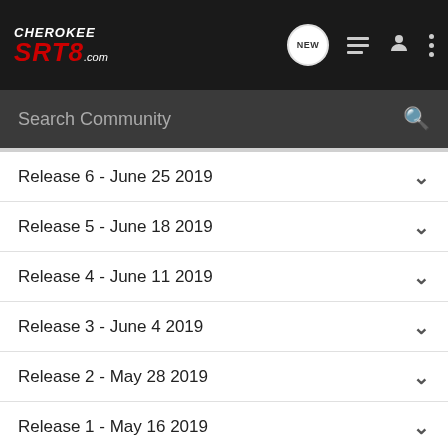[Figure (logo): Cherokee SRT8.com logo in white and red on dark background with navigation icons (NEW chat bubble, list, user, more)]
Search Community
Release 6 - June 25 2019
Release 5 - June 18 2019
Release 4 - June 11 2019
Release 3 - June 4 2019
Release 2 - May 28 2019
Release 1 - May 16 2019